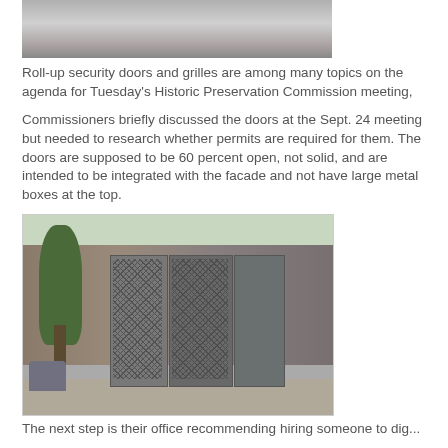[Figure (photo): Top portion of a photo showing a close-up of a roll-up security door or metal grille surface]
Roll-up security doors and grilles are among many topics on the agenda for Tuesday's Historic Preservation Commission meeting,
Commissioners briefly discussed the doors at the Sept. 24 meeting but needed to research whether permits are required for them. The doors are supposed to be 60 percent open, not solid, and are intended to be integrated with the facade and not have large metal boxes at the top.
[Figure (photo): Street-level photo showing storefronts with roll-up security grilles/doors closed over the shop entrances, with a sidewalk, trees, and a parked car visible]
The next step is their office recommending hiring someone to dig...